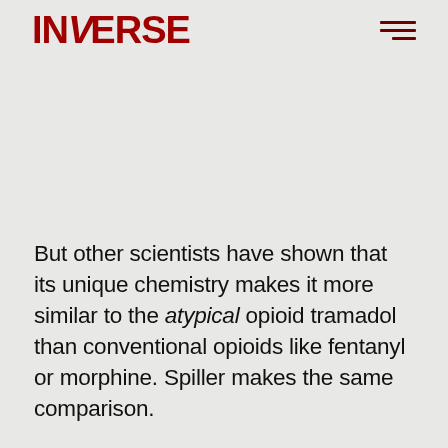INVERSE
But other scientists have shown that its unique chemistry makes it more similar to the atypical opioid tramadol than conventional opioids like fentanyl or morphine. Spiller makes the same comparison.